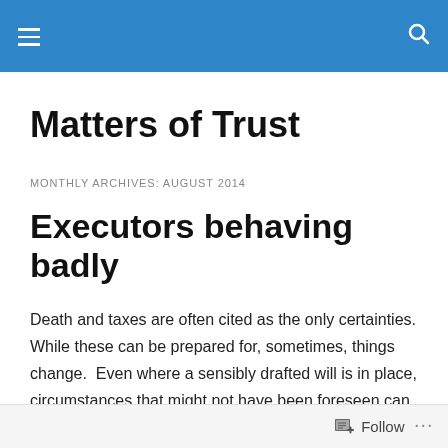Matters of Trust
Matters of Trust
MONTHLY ARCHIVES: AUGUST 2014
Executors behaving badly
Death and taxes are often cited as the only certainties. While these can be prepared for, sometimes, things change.  Even where a sensibly drafted will is in place, circumstances that might not have been foreseen can arise.  Sometimes at a time where the will-maker can no longer…
Follow